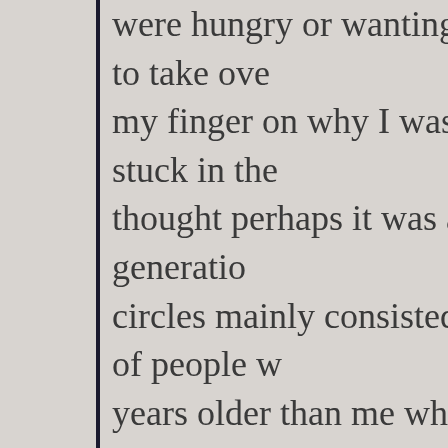were hungry or wanting to take ove my finger on why I was stuck in the thought perhaps it was a generatio circles mainly consisted of people w years older than me when I was in other times, I thought it was perhap and becoming more flakey, passive
I'm starting to wonder if perhaps I ju coast though, or at least in the bay more about the east coast (and jus this article, for example, mentions b shunned in the bay and that really b the treatment I get from most my pe